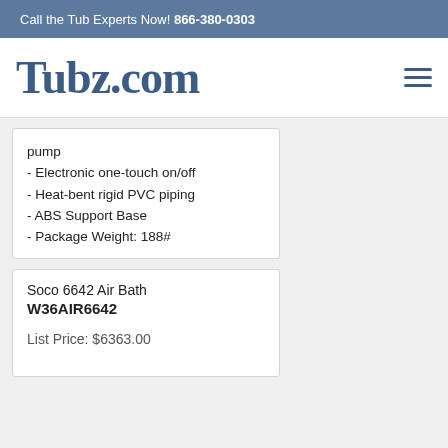Call the Tub Experts Now! 866-380-0303
[Figure (logo): Tubz.com logo with hamburger menu icon]
pump
- Electronic one-touch on/off
- Heat-bent rigid PVC piping
- ABS Support Base
- Package Weight: 188#
Soco 6642 Air Bath
W36AIR6642
List Price: $6363.00